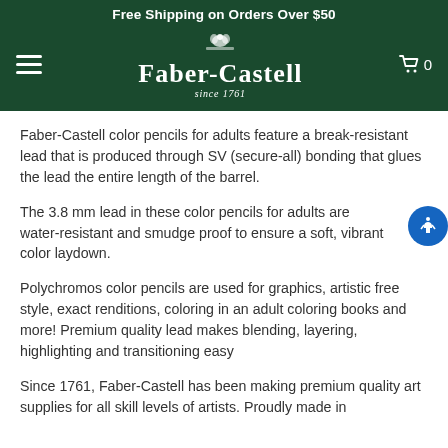Free Shipping on Orders Over $50
[Figure (logo): Faber-Castell logo with knight emblem and 'since 1761' text on dark green background]
Faber-Castell color pencils for adults feature a break-resistant lead that is produced through SV (secure-all) bonding that glues the lead the entire length of the barrel.
The 3.8 mm lead in these color pencils for adults are water-resistant and smudge proof to ensure a soft, vibrant color laydown.
Polychromos color pencils are used for graphics, artistic free style, exact renditions, coloring in an adult coloring books and more! Premium quality lead makes blending, layering, highlighting and transitioning easy
Since 1761, Faber-Castell has been making premium quality art supplies for all skill levels of artists. Proudly made in